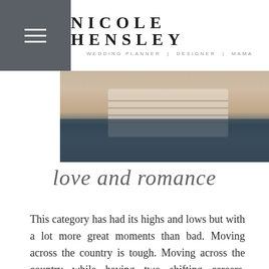NICOLE HENSLEY — WEDDING PLANNER | DESIGNER | MAMA
[Figure (photo): Partial photo of a person wearing a striped shirt, cropped to show torso and arms, with a dark background at the bottom]
love and romance
This category has had its highs and lows but with a lot more great moments than bad. Moving across the country is tough. Moving across the country while having two shifting careers, grieving the loss of family members on both sides, navigating a pandemic with two young children, and